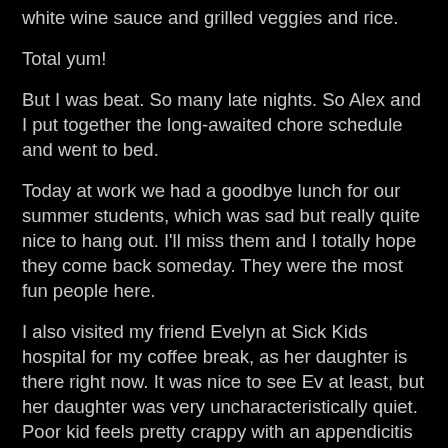white wine sauce and grilled veggies and rice.
Total yum!
But I was beat. So many late nights. So Alex and I put together the long-awaited chore schedule and went to bed.
Today at work we had a goodbye lunch for our summer students, which was sad but really quite nice to hang out. I'll miss them and I totally hope they come back someday. They were the most fun people here.
I also visited my friend Evelyn at Sick Kids hospital for my coffee break, as her daughter is there right now. It was nice to see Ev at least, but her daughter was very uncharacteristically quiet. Poor kid feels pretty crappy with an appendicitis complication that I sort of went through when I was 16; but apparently she'll be fine soon. They expect that she may be able to go home on Monday.
Tonight - shortly, actually - I'm heading to the bus station to catch a ride to Kitchener. Kendra's picking me up and we're